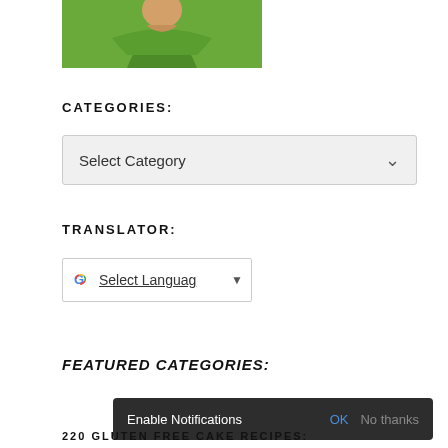[Figure (photo): Partial photo of a person wearing a green sweater, cropped at top of page]
CATEGORIES:
Select Category
TRANSLATOR:
Select Language
FEATURED CATEGORIES:
Enable Notifications  OK  No thanks
220 GLUTEN FREE CAKE RECIPES: